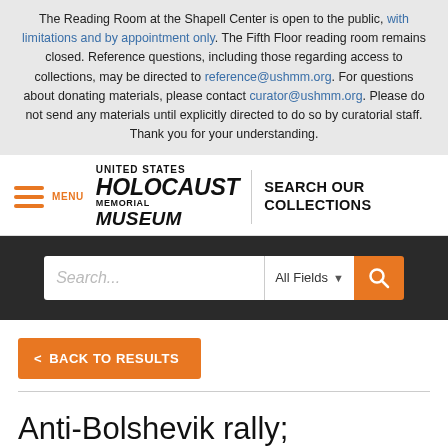The Reading Room at the Shapell Center is open to the public, with limitations and by appointment only. The Fifth Floor reading room remains closed. Reference questions, including those regarding access to collections, may be directed to reference@ushmm.org. For questions about donating materials, please contact curator@ushmm.org. Please do not send any materials until explicitly directed to do so by curatorial staff. Thank you for your understanding.
[Figure (screenshot): United States Holocaust Memorial Museum navigation bar with hamburger menu icon, logo, and 'SEARCH OUR COLLECTIONS' text]
[Figure (screenshot): Search bar with placeholder text 'Search...', 'All Fields' dropdown, and orange search button]
< BACK TO RESULTS
Anti-Bolshevik rally; stereotypical